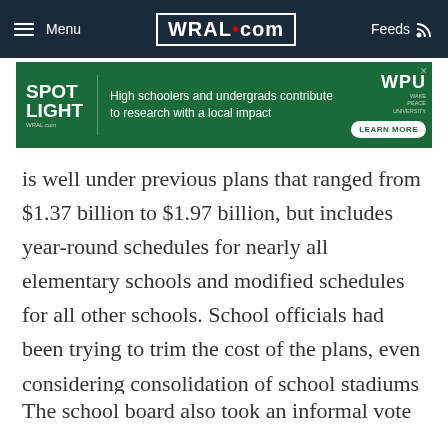Menu | WRAL.com | Feeds
[Figure (screenshot): Advertisement banner for WRAL.com featuring SPOTLIGHT and Wake Peace University (WPU) with tagline: High schoolers and undergrads contribute to research with a local impact. LEARN MORE button.]
is well under previous plans that ranged from $1.37 billion to $1.97 billion, but includes year-round schedules for nearly all elementary schools and modified schedules for all other schools. School officials had been trying to trim the cost of the plans, even considering consolidation of school stadiums to do so.
The school board also took an informal vote